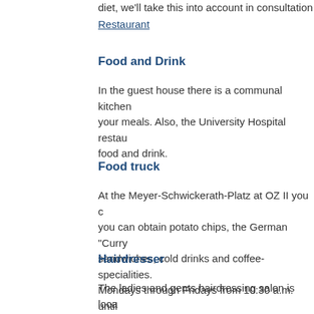diet, we'll take this into account in consultation w…
Restaurant
Food and Drink
In the guest house there is a communal kitchen… your meals. Also, the University Hospital restau… food and drink.
Food truck
At the Meyer-Schwickerath-Platz at OZ II you c… you can obtain potato chips, the German "Curry… sandwiches, cold drinks and coffee-specialities.… Mondays through Fridays from 10:30 a.m. until…
Hairdresser
The ladies and gents hairdressing salon is loca… German Heart Centre. The staff will be happy to… and perm it as you require. The team is on han… between 09:00 and 18:00 hrs. and on Saturday…